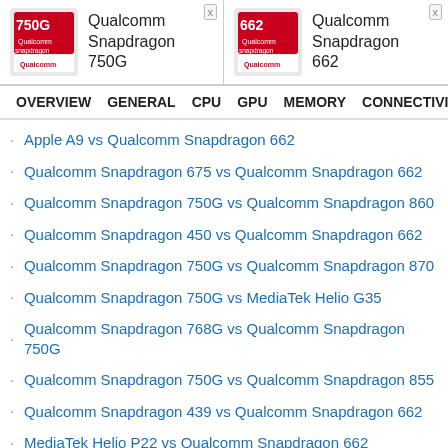[Figure (logo): Qualcomm Snapdragon 750G logo chip card]
[Figure (logo): Qualcomm Snapdragon 662 logo chip card]
OVERVIEW  GENERAL  CPU  GPU  MEMORY  CONNECTIVITY
Apple A9 vs Qualcomm Snapdragon 662
Qualcomm Snapdragon 675 vs Qualcomm Snapdragon 662
Qualcomm Snapdragon 750G vs Qualcomm Snapdragon 860
Qualcomm Snapdragon 450 vs Qualcomm Snapdragon 662
Qualcomm Snapdragon 750G vs Qualcomm Snapdragon 870
Qualcomm Snapdragon 750G vs MediaTek Helio G35
Qualcomm Snapdragon 768G vs Qualcomm Snapdragon 750G
Qualcomm Snapdragon 750G vs Qualcomm Snapdragon 855
Qualcomm Snapdragon 439 vs Qualcomm Snapdragon 662
MediaTek Helio P22 vs Qualcomm Snapdragon 662
MediaTek Helio P70 vs Qualcomm Snapdragon 662